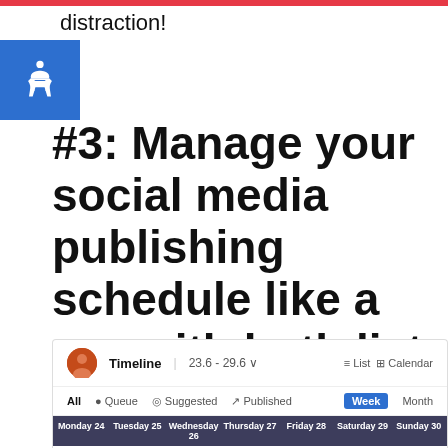distraction!
#3: Manage your social media publishing schedule like a pro with both list and calendar views
[Figure (screenshot): Screenshot of a social media scheduling tool showing a Timeline view with date range 23.6 - 29.6, filter tabs (All, Queue, Suggested, Published), Week/Month view toggle, and a calendar header row showing Monday 24 through Sunday 30.]